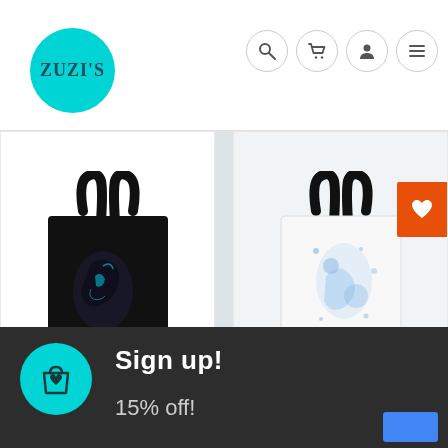[Figure (logo): Zuzi's brand logo: teal/cyan circle with 'ZUZI'S' text in dark teal]
[Figure (infographic): Navigation icons: search, cart, user, hamburger menu — circular outlined buttons]
[Figure (photo): Black tote bag with dark raven/bird artwork and small text at bottom]
[Figure (photo): White tote bag with blue watercolor splash/bird artwork and small text at bottom, with orange wishlist heart button overlay]
Sign up!
15% off!